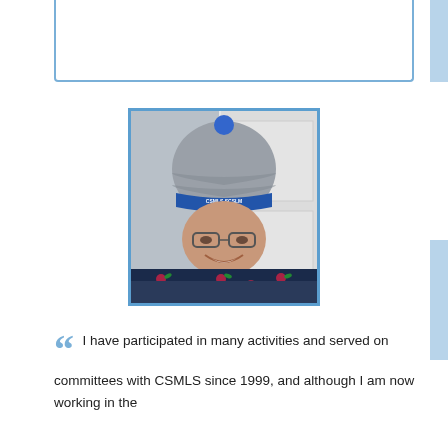[Figure (photo): Person wearing a grey and blue knit hat with CSMLS/SCSLM logo and text, glasses, and a floral navy scarf, smiling at the camera indoors]
I have participated in many activities and served on committees with CSMLS since 1999, and although I am now working in the